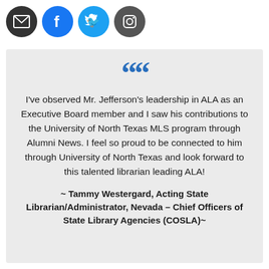[Figure (illustration): Four social media icon circles in a row: email (envelope), Facebook (f), Twitter (bird), Instagram (camera)]
“I’ve observed Mr. Jefferson’s leadership in ALA as an Executive Board member and I saw his contributions to the University of North Texas MLS program through Alumni News. I feel so proud to be connected to him through University of North Texas and look forward to this talented librarian leading ALA!
~ Tammy Westergard, Acting State Librarian/Administrator, Nevada – Chief Officers of State Library Agencies (COSLA)~